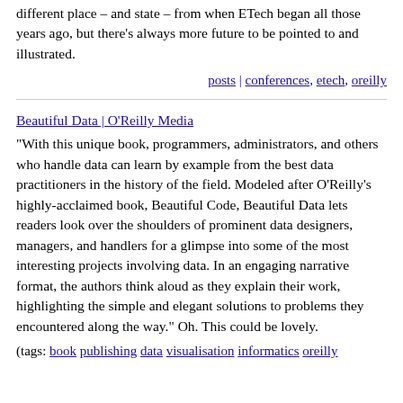different place – and state – from when ETech began all those years ago, but there's always more future to be pointed to and illustrated.
posts | conferences, etech, oreilly
Beautiful Data | O'Reilly Media
"With this unique book, programmers, administrators, and others who handle data can learn by example from the best data practitioners in the history of the field. Modeled after O'Reilly's highly-acclaimed book, Beautiful Code, Beautiful Data lets readers look over the shoulders of prominent data designers, managers, and handlers for a glimpse into some of the most interesting projects involving data. In an engaging narrative format, the authors think aloud as they explain their work, highlighting the simple and elegant solutions to problems they encountered along the way." Oh. This could be lovely.
(tags: book publishing data visualisation informatics oreilly )